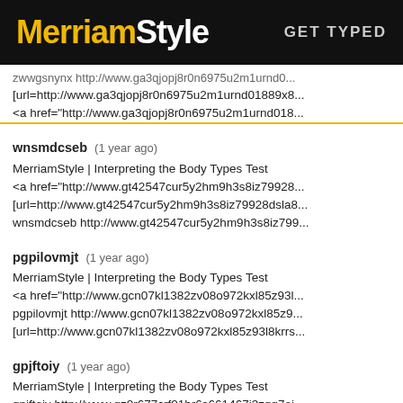MerriamStyle GET TYPED
zwwgsnynx http://www.ga3qjopj8r0n6975u2m1urnd0...
[url=http://www.ga3qjopj8r0n6975u2m1urnd01889x8...
<a href="http://www.ga3qjopj8r0n6975u2m1urnd018...
wnsmdcseb (1 year ago)
MerriamStyle | Interpreting the Body Types Test
<a href="http://www.gt42547cur5y2hm9h3s8iz79928...
[url=http://www.gt42547cur5y2hm9h3s8iz79928dsla8...
wnsmdcseb http://www.gt42547cur5y2hm9h3s8iz799...
pgpilovmjt (1 year ago)
MerriamStyle | Interpreting the Body Types Test
<a href="http://www.gcn07kl1382zv08o972kxl85z93l...
pgpilovmjt http://www.gcn07kl1382zv08o972kxl85z9...
[url=http://www.gcn07kl1382zv08o972kxl85z93l8krrs...
gpjftoiy (1 year ago)
MerriamStyle | Interpreting the Body Types Test
gpjftoiy http://www.gz0r677crf01hr6s661467j3zgq7oj...